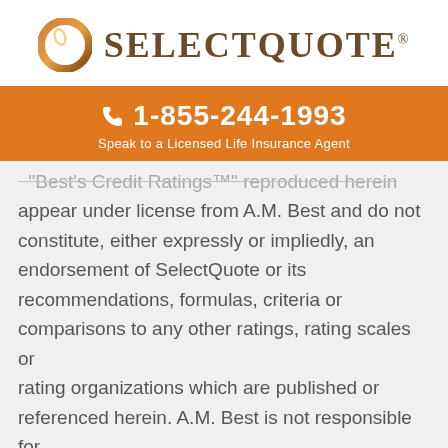[Figure (logo): SelectQuote logo with orange ring icon and serif text]
☎ 1-855-244-1993
Speak to a Licensed Life Insurance Agent
"Best's Credit Ratings™" reproduced herein appear under license from A.M. Best and do not constitute, either expressly or impliedly, an endorsement of SelectQuote or its recommendations, formulas, criteria or comparisons to any other ratings, rating scales or rating organizations which are published or referenced herein. A.M. Best is not responsible for transcription errors made in presenting Best's Credit Ratings™. Best's Credit Ratings™ are proprietary and may not be reproduced or distributed without the express written...